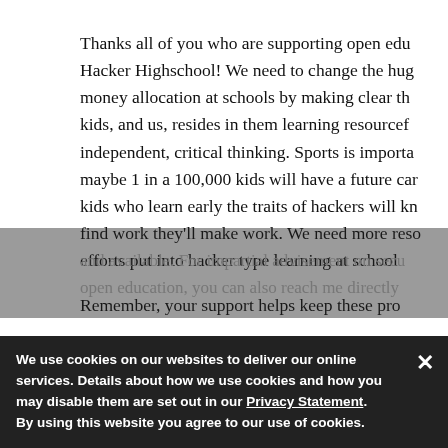Thanks all of you who are supporting open education via Hacker Highschool! We need to change the huge money allocation at schools by making clear the future of kids, and us, resides in them learning resourceful, independent, critical thinking. Sports is important but maybe 1 in a 100,000 kids will have a future career, but kids who learn early the traits of hackers will know if can't find work they'll make work. We need more resources and efforts put into hacker type learning at school.
Remember, your support helps keep these programs free and available. For impartial advisement on security and open education, you can also reach me directly at...
We use cookies on our websites to deliver our online services. Details about how we use cookies and how you may disable them are set out in our Privacy Statement. By using this website you agree to our use of cookies.